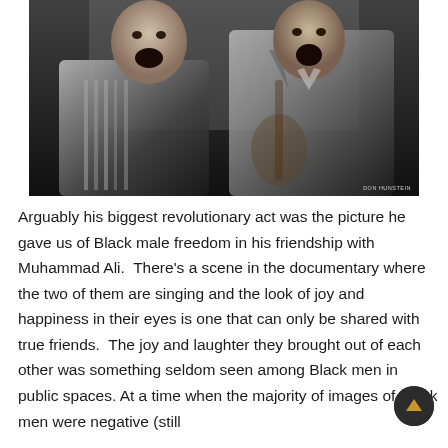[Figure (photo): Black and white photograph of two men singing with mouths open and expressions of joy. The man on the left wears a striped shirt (Muhammad Ali) and the man on the right wears a suit jacket and holds a guitar (Sam Cooke). Photo credit watermark reads 'DON HUNSTEIN' in bottom right corner.]
Arguably his biggest revolutionary act was the picture he gave us of Black male freedom in his friendship with Muhammad Ali.  There's a scene in the documentary where the two of them are singing and the look of joy and happiness in their eyes is one that can only be shared with true friends.  The joy and laughter they brought out of each other was something seldom seen among Black men in public spaces. At a time when the majority of images of Black men were negative (still